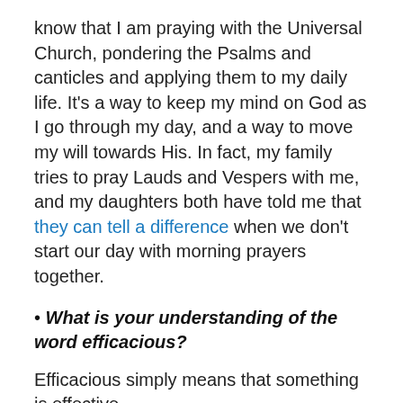know that I am praying with the Universal Church, pondering the Psalms and canticles and applying them to my daily life. It’s a way to keep my mind on God as I go through my day, and a way to move my will towards His. In fact, my family tries to pray Lauds and Vespers with me, and my daughters both have told me that they can tell a difference when we don’t start our day with morning prayers together.
• What is your understanding of the word efficacious?
Efficacious simply means that something is effective.
• What does it mean that the sacraments are efficacious?
The Sacraments are efficacious in that they do what they symbolize. When the priest consecrates the bread